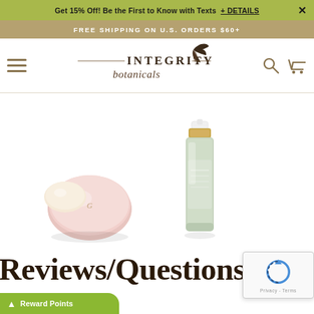Get 15% Off! Be the First to Know with Texts + DETAILS ×
FREE SHIPPING ON U.S. ORDERS $60+
[Figure (logo): Integrity Botanicals logo with decorative botanical leaf illustration and script text]
[Figure (photo): Two pink and cream round compact cosmetic products]
[Figure (photo): Green glass bottle serum with gold pump dispenser]
Reviews/Questions
Reward Points